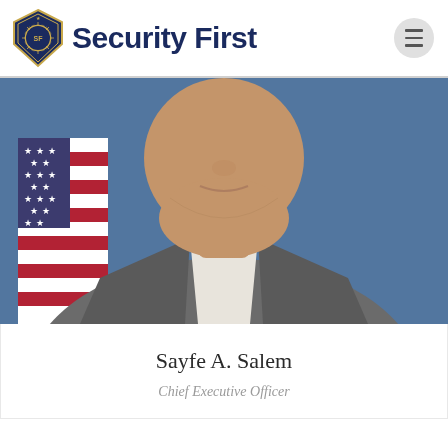Security First
[Figure (photo): Professional headshot of Sayfe A. Salem in a grey suit with a patterned tie, American flag visible in background, blue backdrop]
Sayfe A. Salem
Chief Executive Officer